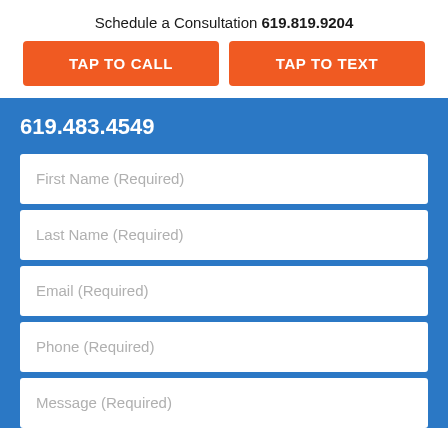Schedule a Consultation 619.819.9204
TAP TO CALL
TAP TO TEXT
619.483.4549
First Name (Required)
Last Name (Required)
Email (Required)
Phone (Required)
Message (Required)